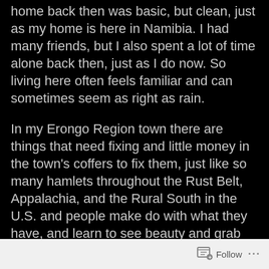home back then was basic, but clean, just as my home is here in Namibia. I had many friends, but I also spent a lot of time alone back then, just as I do now. So living here often feels familiar and can sometimes seem as right as rain.
In my Erongo Region town there are things that need fixing and little money in the town's coffers to fix them, just like so many hamlets throughout the Rust Belt, Appalachia, and the Rural South in the U.S. and people make do with what they have, and learn to see beauty and grab
Follow ...